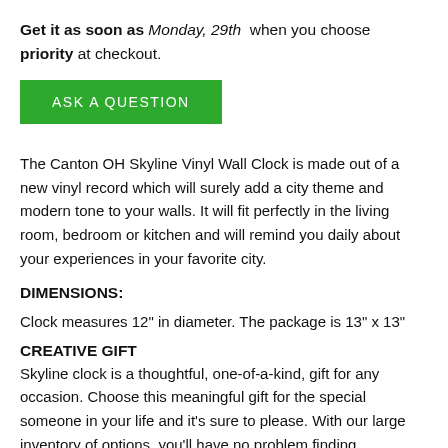Get it as soon as Monday, 29th when you choose priority at checkout.
[Figure (other): Green button labeled ASK A QUESTION]
The Canton OH Skyline Vinyl Wall Clock is made out of a new vinyl record which will surely add a city theme and modern tone to your walls. It will fit perfectly in the living room, bedroom or kitchen and will remind you daily about your experiences in your favorite city.
DIMENSIONS:
Clock measures 12" in diameter. The package is 13" x 13"
CREATIVE GIFT
Skyline clock is a thoughtful, one-of-a-kind, gift for any occasion. Choose this meaningful gift for the special someone in your life and it's sure to please. With our large inventory of options, you'll have no problem finding